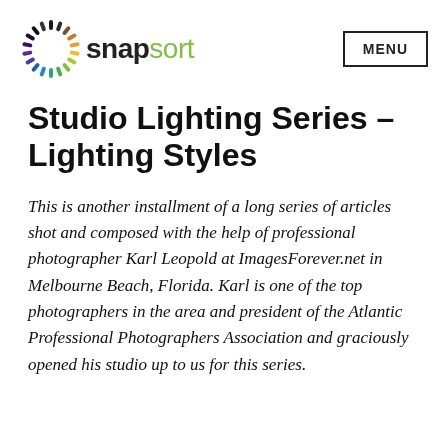[Figure (logo): Snapsort logo with sunburst icon and text 'snapsort' where 'snap' is black and 'sort' is green]
MENU
Studio Lighting Series – Lighting Styles
This is another installment of a long series of articles shot and composed with the help of professional photographer Karl Leopold at ImagesForever.net in Melbourne Beach, Florida. Karl is one of the top photographers in the area and president of the Atlantic Professional Photographers Association and graciously opened his studio up to us for this series.